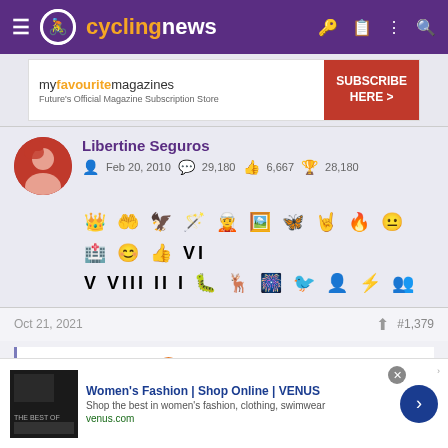cyclingnews
[Figure (screenshot): Advertisement banner for myfavouritemagazines with SUBSCRIBE HERE button]
Libertine Seguros — Feb 20, 2010 | 29,180 | 6,667 | 28,180
[Figure (illustration): Two rows of forum achievement badge icons/symbols]
Oct 21, 2021  #1,379
Samu Cuenca said:
[Figure (screenshot): Advertisement for Women's Fashion | Shop Online | VENUS — Shop the best in women's fashion, clothing, swimwear — venus.com]